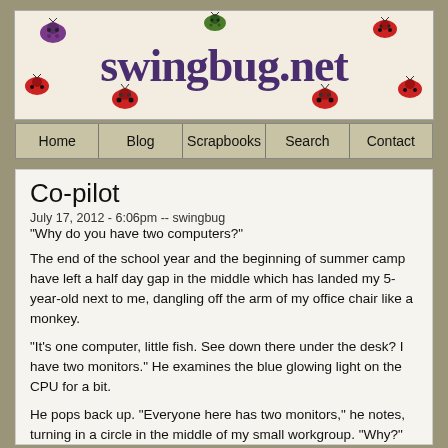swingbug.net
Home | Blog | Scrapbooks | Search | Contact
Co-pilot
July 17, 2012 - 6:06pm -- swingbug
"Why do you have two computers?"
The end of the school year and the beginning of summer camp have left a half day gap in the middle which has landed my 5-year-old next to me, dangling off the arm of my office chair like a monkey.
"It's one computer, little fish. See down there under the desk? I have two monitors." He examines the blue glowing light on the CPU for a bit.
He pops back up. "Everyone here has two monitors," he notes, turning in a circle in the middle of my small workgroup. "Why?"
"Because we're that cool."